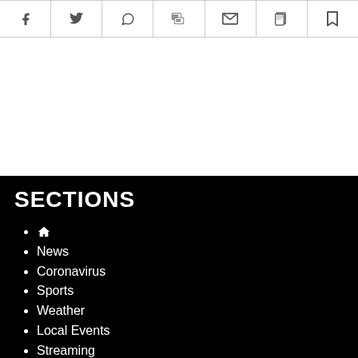[Figure (infographic): Horizontal toolbar with 7 social/share icons: Facebook, Twitter, WhatsApp, Chat/Comment, Email, Copy, Bookmark]
SECTIONS
Home (icon)
News
Coronavirus
Sports
Weather
Local Events
Streaming
Orange Pages
Puzzles & Games